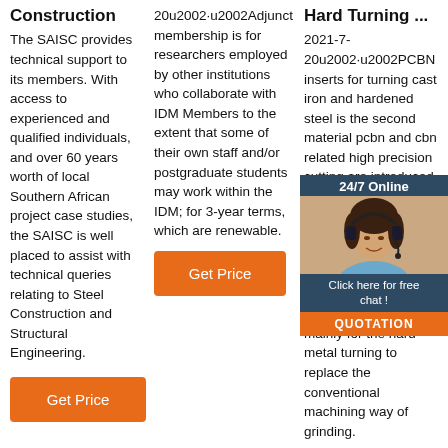Construction
The SAISC provides technical support to its members. With access to experienced and qualified individuals, and over 60 years worth of local Southern African project case studies, the SAISC is well placed to assist with technical queries relating to Steel Construction and Structural Engineering.
Get Price
20u2002·u2002Adjunct membership is for researchers employed by other institutions who collaborate with IDM Members to the extent that some of their own staff and/or postgraduate students may work within the IDM; for 3-year terms, which are renewable.
Get Price
Hard Turning ...
2021-7-20u2002·u2002PCBN inserts for turning cast iron and hardened steel is the second material pcbn and cbn related high precision cutting are introduced to industry, it is for high productivity and cost reductions. pcbn is the short name of polycrystalline cubic boron nitride, and pcbn inserts are mainly for the hard metal turning to replace the conventional machining way of grinding.
[Figure (infographic): 24/7 Online chat widget with woman customer service representative image, 'Click here for free chat!' text, and orange QUOTATION button]